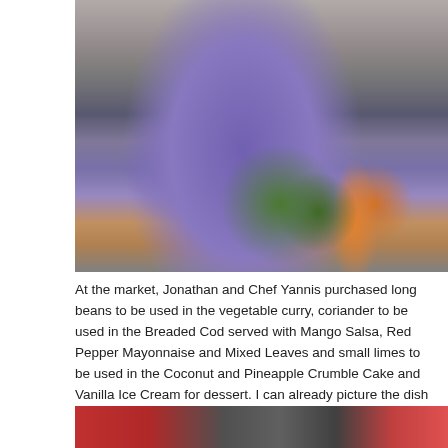[Figure (photo): A girl in a purple floral outfit seen from behind with arms raised, crouching near produce items (green limes and orange bags) on the ground at a market. Other people's legs visible around her.]
At the market, Jonathan and Chef Yannis purchased long beans to be used in the vegetable curry, coriander to be used in the Breaded Cod served with Mango Salsa, Red Pepper Mayonnaise and Mixed Leaves and small limes to be used in the Coconut and Pineapple Crumble Cake and Vanilla Ice Cream for dessert. I can already picture the dish in my head and there's definitely one word for it, AMAZING!
[Figure (photo): Partial view of another market scene, bottom of page, showing red and dark elements.]